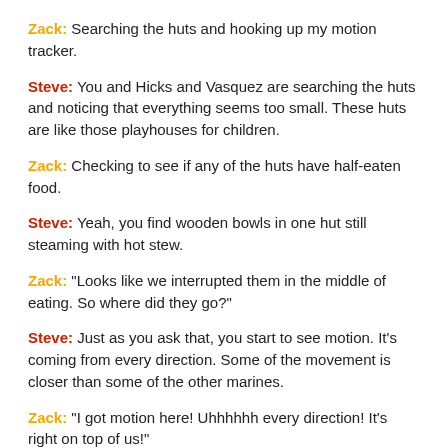Zack: Searching the huts and hooking up my motion tracker.
Steve: You and Hicks and Vasquez are searching the huts and noticing that everything seems too small. These huts are like those playhouses for children.
Zack: Checking to see if any of the huts have half-eaten food.
Steve: Yeah, you find wooden bowls in one hut still steaming with hot stew.
Zack: "Looks like we interrupted them in the middle of eating. So where did they go?"
Steve: Just as you ask that, you start to see motion. It’s coming from every direction. Some of the movement is closer than some of the other marines.
Zack: “I got motion here! Uhhhhhh every direction! It’s right on top of us!"